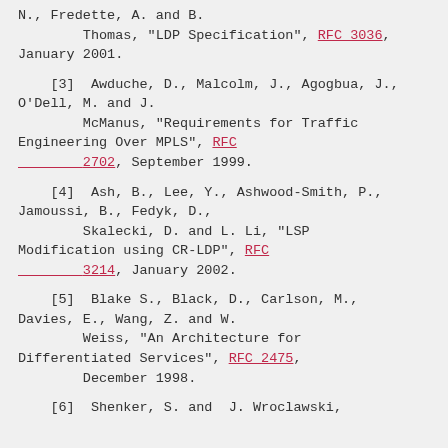N., Fredette, A. and B. Thomas, "LDP Specification", RFC 3036, January 2001.
[3]  Awduche, D., Malcolm, J., Agogbua, J., O'Dell, M. and J. McManus, "Requirements for Traffic Engineering Over MPLS", RFC 2702, September 1999.
[4]  Ash, B., Lee, Y., Ashwood-Smith, P., Jamoussi, B., Fedyk, D., Skalecki, D. and L. Li, "LSP Modification using CR-LDP", RFC 3214, January 2002.
[5]  Blake S., Black, D., Carlson, M., Davies, E., Wang, Z. and W. Weiss, "An Architecture for Differentiated Services", RFC 2475, December 1998.
[6]  Shenker, S. and  J. Wroclawski,